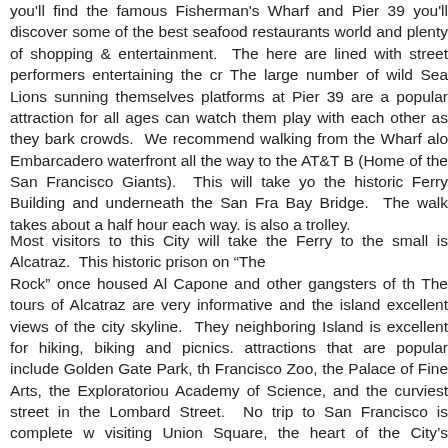you'll find the famous Fisherman's Wharf and Pier 39 you'll discover some of the best seafood restaurants world and plenty of shopping & entertainment. The here are lined with street performers entertaining the cr The large number of wild Sea Lions sunning themselves platforms at Pier 39 are a popular attraction for all ages can watch them play with each other as they bark crowds. We recommend walking from the Wharf alo Embarcadero waterfront all the way to the AT&T B (Home of the San Francisco Giants). This will take yo the historic Ferry Building and underneath the San Fra Bay Bridge. The walk takes about a half hour each way. is also a trolley.
Most visitors to this City will take the Ferry to the small is Alcatraz. This historic prison on “The Rock” once housed Al Capone and other gangsters of th The tours of Alcatraz are very informative and the island excellent views of the city skyline. They neighboring Island is excellent for hiking, biking and picnics. attractions that are popular include Golden Gate Park, th Francisco Zoo, the Palace of Fine Arts, the Exploratoriou Academy of Science, and the curviest street in the Lombard Street. No trip to San Francisco is complete w visiting Union Square, the heart of the City’s shopping d Here you can shop all day visiting high-end shops, bou and galleries. From here you can walk to China Town an you are in China. Union Square is a great place to get